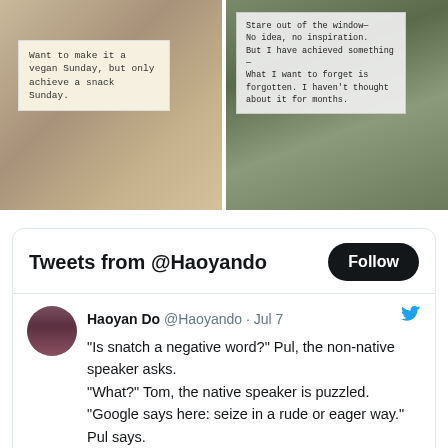[Figure (photo): Two-panel image. Left panel shows a handwritten note on a yellowish background reading 'Want to make it a vegan Sunday, but only achieve a snack Sunday.' Right panel shows a note reading 'Stare out of the window— No idea, no inspiration. But I have achieved something— What I want to forget is forgotten. I haven't thought about it for months.' against a dark outdoor background.]
Tweets from @Haoyando
Haoyan Do @Haoyando · Jul 7
"Is snatch a negative word?" Pul, the non-native speaker asks.
"What?" Tom, the native speaker is puzzled.
"Google says here: seize in a rude or eager way." Pul says.
Tom stares at Pul and says, "you're asking the strangest question."
#vss365 #snatch